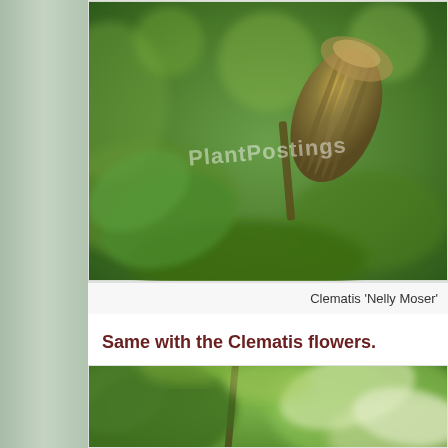[Figure (photo): Close-up macro photograph of a Clematis 'Nelly Moser' flower bud, showing green ribbed bud with brown stem, blurred green leaves in background. Watermark text 'PlantPostings' visible in center.]
Clematis 'Nelly Moser'
Same with the Clematis flowers.
[Figure (photo): Close-up macro photograph of Clematis leaves and stem, showing green and white variegated leaves, blurred background with green and cream tones.]